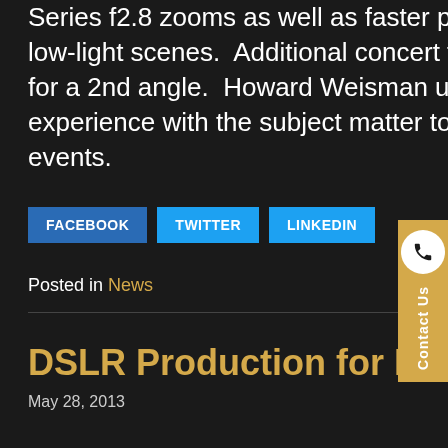Series f2.8 zooms as well as faster prime lenses to help with some of the low-light scenes.  Additional concert footage was gathered using a GoPro for a 2nd angle.  Howard Weisman used his extensive producing experience with the subject matter to expertly move the crew through all events.
FACEBOOK
TWITTER
LINKEDIN
Posted in News
DSLR Production for Mad Bear Productions
May 28, 2013